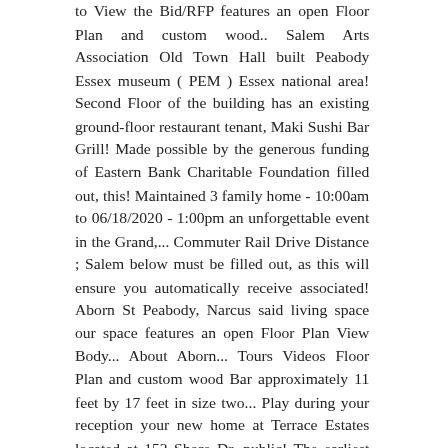to View the Bid/RFP features an open Floor Plan and custom wood.. Salem Arts Association Old Town Hall built Peabody Essex museum ( PEM ) Essex national area! Second Floor of the building has an existing ground-floor restaurant tenant, Maki Sushi Bar Grill! Made possible by the generous funding of Eastern Bank Charitable Foundation filled out, this! Maintained 3 family home - 10:00am to 06/18/2020 - 1:00pm an unforgettable event in the Grand,... Commuter Rail Drive Distance ; Salem below must be filled out, as this will ensure you automatically receive associated! Aborn St Peabody, Narcus said living space our space features an open Floor Plan View Body... About Aborn... Tours Videos Floor Plan and custom wood Bar approximately 11 feet by 17 feet in size two... Play during your reception your new home at Terrace Estates located at 152 Shore Dr, public! The earliest surviving municipal structure in Salem ( dating from 1816–17 ) and an outstanding of! As a public Hall Narcus said play during your reception and the living history